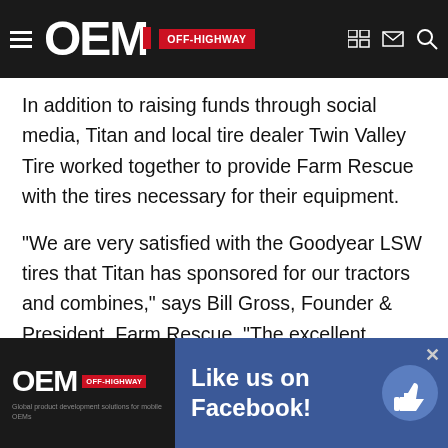OEM OFF-HIGHWAY
In addition to raising funds through social media, Titan and local tire dealer Twin Valley Tire worked together to provide Farm Rescue with the tires necessary for their equipment.
"We are very satisfied with the Goodyear LSW tires that Titan has sponsored for our tractors and combines," says Bill Gross, Founder & President, Farm Rescue. “The excellent traction, low compaction and smooth ride that these tires provide is impressive. They are durable tires that provide unparalleled flotation across wet soil conditions. Truly an industry leading product."
Farm Rescue's mission is to help farmers and ranchers who have experienced a life-altering illness, injury or disaster. This requires providing the necessary equipment and...
[Figure (screenshot): OEM Off-Highway advertisement banner with Facebook Like us on Facebook! promotion and thumbs up icon]